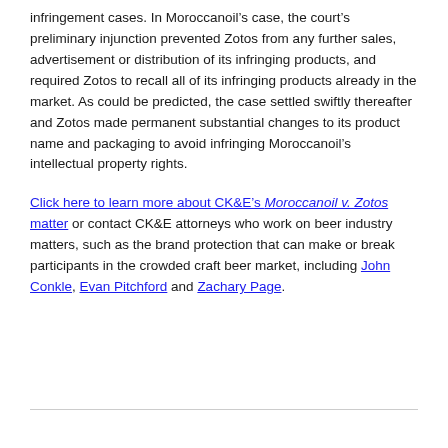infringement cases.  In Moroccanoil's case, the court's preliminary injunction prevented Zotos from any further sales, advertisement or distribution of its infringing products, and required Zotos to recall all of its infringing products already in the market.  As could be predicted, the case settled swiftly thereafter and Zotos made permanent substantial changes to its product name and packaging to avoid infringing Moroccanoil's intellectual property rights.
Click here to learn more about CK&E's Moroccanoil v. Zotos matter or contact CK&E attorneys who work on beer industry matters, such as the brand protection that can make or break participants in the crowded craft beer market, including John Conkle, Evan Pitchford and Zachary Page.